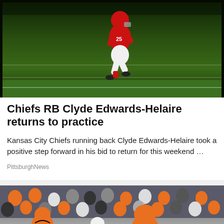[Figure (photo): Kansas City Chiefs player running on a football field, wearing red and white uniform, green turf visible in background]
Chiefs RB Clyde Edwards-Helaire returns to practice
Kansas City Chiefs running back Clyde Edwards-Helaire took a positive step forward in his bid to return for this weekend …
PittsburghNews
[Figure (photo): Philadelphia Flyers hockey players in orange uniforms battling against Pittsburgh Penguins players in white and black, crowd visible in background, rinkside advertisement for Pennsylvania Lottery DEPOSIT visible]